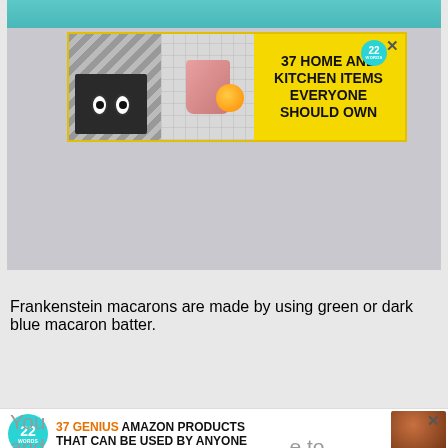[Figure (photo): Screenshot of a webpage showing a photo with teal/green decorative items at top, an overlay advertisement banner with yellow background saying '37 HOME AND KITCHEN ITEMS EVERYONE SHOULD OWN' with food and kitchen item photos, and a gray area below.]
Frankenstein macarons are made by using green or dark blue macaron batter.
[Figure (screenshot): Close button (CLOSE) and a bottom advertisement banner reading '37 GENIUS AMAZON PRODUCTS THAT CAN BE USED BY ANYONE' with a 22 Words badge and product image.]
You and e to